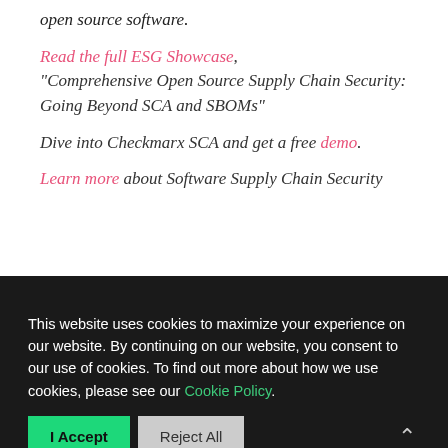open source software.
Read the full ESG Showcase, “Comprehensive Open Source Supply Chain Security: Going Beyond SCA and SBOMs”
Dive into Checkmarx SCA and get a free demo.
Learn more about Software Supply Chain Security
This website uses cookies to maximize your experience on our website. By continuing on our website, you consent to our use of cookies. To find out more about how we use cookies, please see our Cookie Policy.
I Accept
Reject All